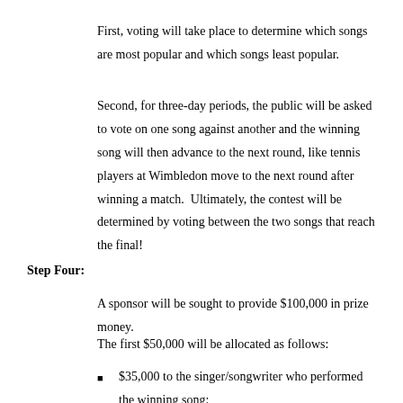First, voting will take place to determine which songs are most popular and which songs least popular.
Second, for three-day periods, the public will be asked to vote on one song against another and the winning song will then advance to the next round, like tennis players at Wimbledon move to the next round after winning a match.  Ultimately, the contest will be determined by voting between the two songs that reach the final!
Step Four:
A sponsor will be sought to provide $100,000 in prize money.
The first $50,000 will be allocated as follows:
$35,000 to the singer/songwriter who performed the winning song;